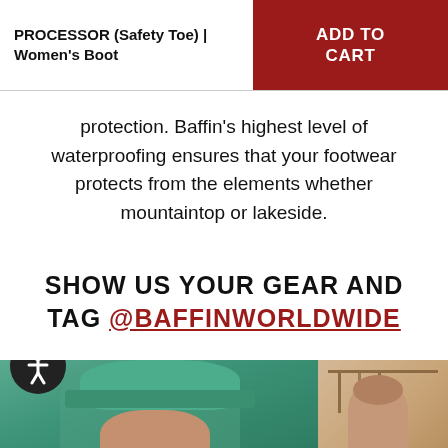PROCESSOR (Safety Toe) | Women's Boot
protection. Baffin's highest level of waterproofing ensures that your footwear protects from the elements whether mountaintop or lakeside.
SHOW US YOUR GEAR AND TAG @BAFFINWORLDWIDE
[Figure (photo): Two photos side by side at the bottom of the page: left photo shows a person wearing a green/teal hard hat viewed from below, right photo shows a person near clothing racks in a store setting. An accessibility icon (person in circle) overlays the bottom left.]